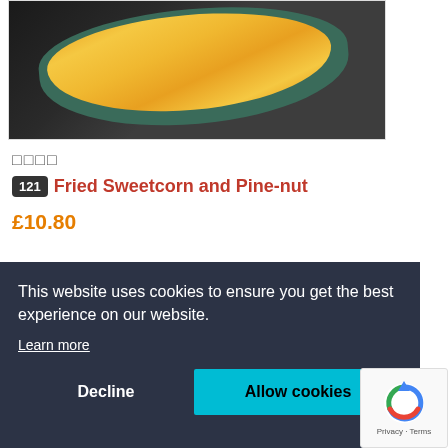[Figure (photo): A green oval plate/dish filled with fried sweetcorn and pine-nuts, shown on a dark wooden table background.]
炒玉米
121 Fried Sweetcorn and Pine-nut
£10.80
This website uses cookies to ensure you get the best experience on our website.
Learn more
Decline
Allow cookies
[Figure (logo): reCAPTCHA logo with Privacy and Terms text]